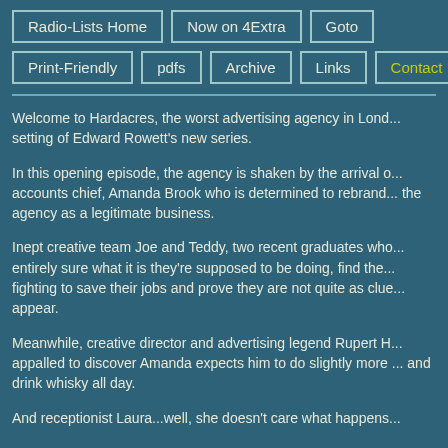Radio-Lists Home | Now on 4Extra | Goto | Print-Friendly | pdfs | Archive | Links | Contact
Welcome to Hardacres, the worst advertising agency in London, the setting of Edward Rowett's new series.
In this opening episode, the agency is shaken by the arrival of new accounts chief, Amanda Brook who is determined to rebrand the agency as a legitimate business.
Inept creative team Joe and Teddy, two recent graduates who aren't entirely sure what it is they're supposed to be doing, find themselves fighting to save their jobs and prove they are not quite as clueless as they appear.
Meanwhile, creative director and advertising legend Rupert H... is appalled to discover Amanda expects him to do slightly more than lunch and drink whisky all day.
And receptionist Laura...well, she doesn't care what happens...